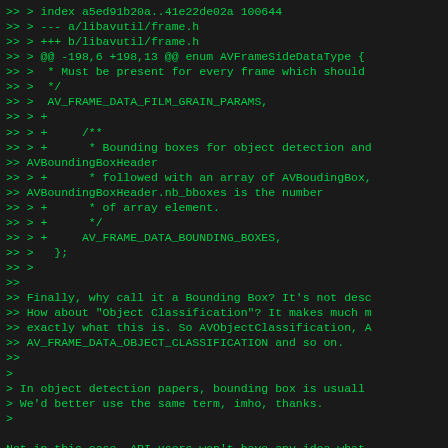>> > index a5ed91b20a..41e22de02a 100644
>> > --- a/libavutil/frame.h
>> > +++ b/libavutil/frame.h
>> > @@ -198,6 +198,13 @@ enum AVFrameSideDataType {
>> >  * Must be present for every frame which should
>> >  */
>> >  AV_FRAME_DATA_FILM_GRAIN_PARAMS,
>> > +
>> > +     /**
>> > +      * Bounding boxes for object detection and
>> AVBoundingBoxHeader
>> > +      * followed with an array of AVBoudingBox,
>> AVBoundingBoxHeader.nb_bboxes is the number
>> > +      * of array element.
>> > +      */
>> > +     AV_FRAME_DATA_BOUNDING_BOXES,
>> >   };
>> >
>>
>> Finally, why call it a Bounding Box? It's not desc
>> How about "Object Classification"? It makes much m
>> exactly what this is. So AVObjectClassification, A
>> AV_FRAME_DATA_OBJECT_CLASSIFICATION and so on.
>>
>
> In object detection papers, bounding box is usuall
> We'd better use the same term, imho, thanks.
>

Not in this case, API users won't have any idea what
it's for. This is user-facing code after all.
Papers in fields can get away with overloading langu